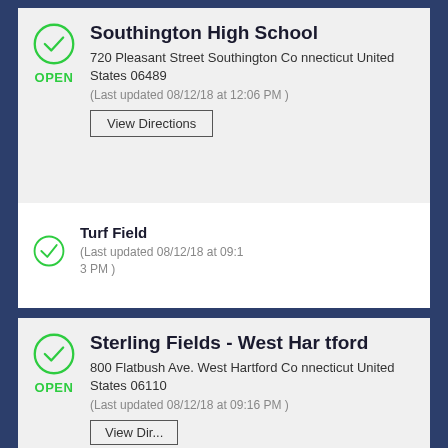Southington High School
720 Pleasant Street Southington Connecticut United States 06489
(Last updated 08/12/18 at 12:06 PM )
View Directions
Turf Field
(Last updated 08/12/18 at 09:13 PM )
Sterling Fields - West Hartford
800 Flatbush Ave. West Hartford Connecticut United States 06110
(Last updated 08/12/18 at 09:16 PM )